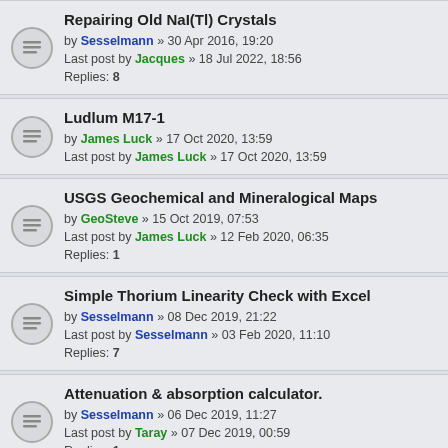Repairing Old NaI(Tl) Crystals by Sesselmann » 30 Apr 2016, 19:20 Last post by Jacques » 18 Jul 2022, 18:56 Replies: 8
Ludlum M17-1 by James Luck » 17 Oct 2020, 13:59 Last post by James Luck » 17 Oct 2020, 13:59
USGS Geochemical and Mineralogical Maps by GeoSteve » 15 Oct 2019, 07:53 Last post by James Luck » 12 Feb 2020, 06:35 Replies: 1
Simple Thorium Linearity Check with Excel by Sesselmann » 08 Dec 2019, 21:22 Last post by Sesselmann » 03 Feb 2020, 11:10 Replies: 7
Attenuation & absorption calculator. by Sesselmann » 06 Dec 2019, 11:27 Last post by Taray » 07 Dec 2019, 00:59 Replies: 1
Ludlum Model 177-1 Manual Supplements